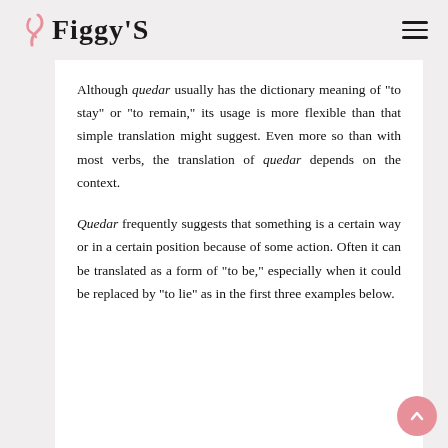Figgy'S
Although quedar usually has the dictionary meaning of "to stay" or "to remain," its usage is more flexible than that simple translation might suggest. Even more so than with most verbs, the translation of quedar depends on the context.
Quedar frequently suggests that something is a certain way or in a certain position because of some action. Often it can be translated as a form of "to be," especially when it could be replaced by "to lie" as in the first three examples below.